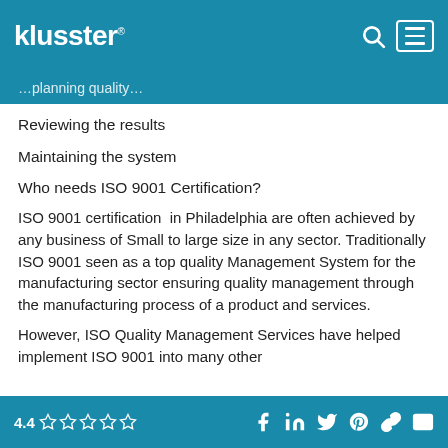klusster®
…planning quality…
Reviewing the results
Maintaining the system
Who needs ISO 9001 Certification?
ISO 9001 certification  in Philadelphia are often achieved by any business of Small to large size in any sector. Traditionally ISO 9001 seen as a top quality Management System for the manufacturing sector ensuring quality management through the manufacturing process of a product and services.
However, ISO Quality Management Services have helped implement ISO 9001 into many other
4.4 ☆☆☆☆☆